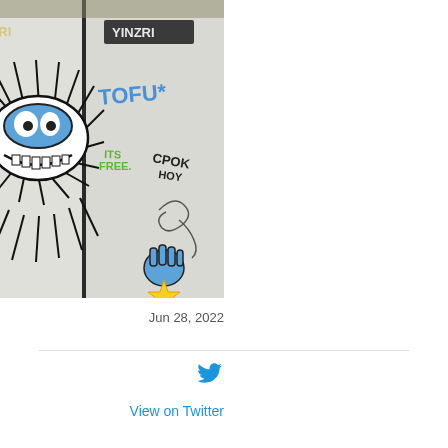[Figure (photo): Photo of graffiti on metal doors/elevator panels. A cartoon monster face with blue eyes and spiky white/black fur is painted on the left panel. Tags including 'YINZRI', 'TOFU*', 'ITS FREE', and other graffiti tags appear on the right panel. A blue cartoon hand holding a yellow star is visible at bottom right.]
Jun 28, 2022
SPHBC
Embed
View on Twitter